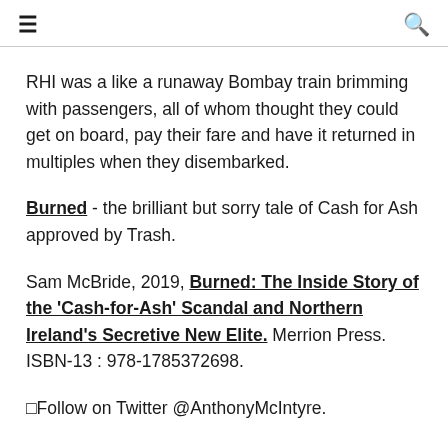≡  🔍
RHI was a like a runaway Bombay train brimming with passengers, all of whom thought they could get on board, pay their fare and have it returned in multiples when they disembarked.
Burned - the brilliant but sorry tale of Cash for Ash approved by Trash.
Sam McBride, 2019, Burned: The Inside Story of the 'Cash-for-Ash' Scandal and Northern Ireland's Secretive New Elite. Merrion Press. ISBN-13 : 978-1785372698.
⬜Follow on Twitter @AnthonyMcIntyre.